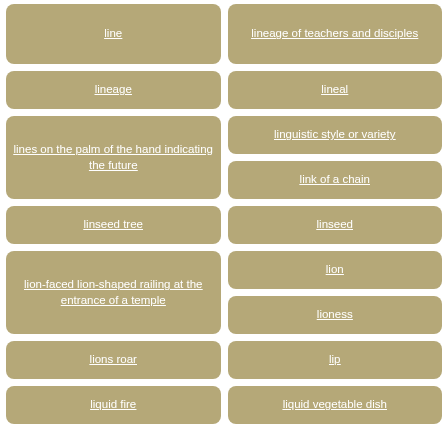line
lineage of teachers and disciples
lineage
lineal
lines on the palm of the hand indicating the future
linguistic style or variety
link of a chain
linseed tree
linseed
lion-faced lion-shaped railing at the entrance of a temple
lion
lioness
lions roar
lip
liquid fire
liquid vegetable dish